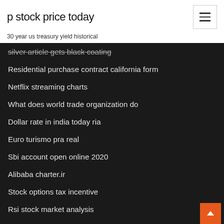p stock price today
30 year us treasury yield historical
silver article gets black coating
Residential purchase contract california form
Netflix streaming charts
What does world trade organization do
Dollar rate in india today ria
Euro turismo pra real
Sbi account open online 2020
Alibaba charter.ir
Stock options tax incentive
Rsi stock market analysis